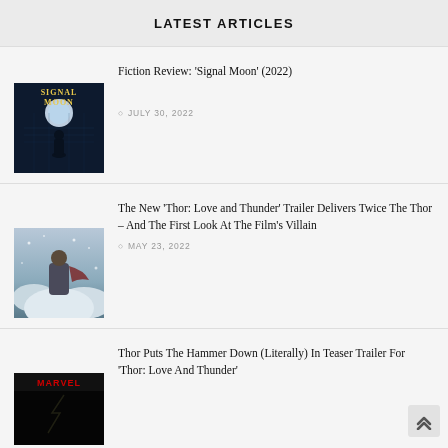LATEST ARTICLES
Fiction Review: 'Signal Moon' (2022)
[Figure (photo): Signal Moon book/movie cover — dark blue background with a silhouette of a person and glowing moon, text SIGNAL MOON]
JULY 30, 2022
The New 'Thor: Love and Thunder' Trailer Delivers Twice The Thor – And The First Look At The Film's Villain
[Figure (photo): Thor: Love and Thunder still — figure amid icy/stormy scene]
MAY 23, 2022
Thor Puts The Hammer Down (Literally) In Teaser Trailer For 'Thor: Love And Thunder'
[Figure (photo): Thor: Love and Thunder teaser thumbnail — dark background with Marvel logo area visible]